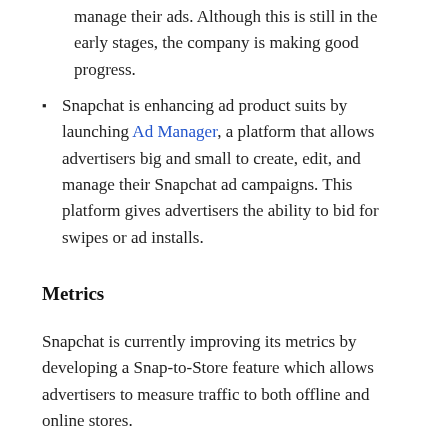manage their ads. Although this is still in the early stages, the company is making good progress.
Snapchat is enhancing ad product suits by launching Ad Manager, a platform that allows advertisers big and small to create, edit, and manage their Snapchat ad campaigns. This platform gives advertisers the ability to bid for swipes or ad installs.
Metrics
Snapchat is currently improving its metrics by developing a Snap-to-Store feature which allows advertisers to measure traffic to both offline and online stores.